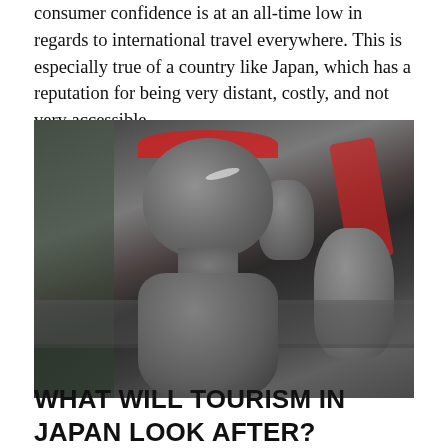consumer confidence is at an all-time low in regards to international travel everywhere. This is especially true of a country like Japan, which has a reputation for being very distant, costly, and not very accessible.
[Figure (photo): A stone Japanese Jizo statue photographed from behind/slightly above, showing its rounded head with a red fabric bib/cap, with other stone statues and red decorations blurred in the background.]
WHAT WILL TOURISM IN JAPAN LOOK AFTER?